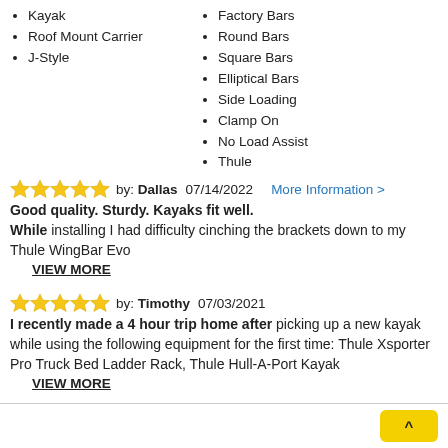Kayak
Roof Mount Carrier
J-Style
Factory Bars
Round Bars
Square Bars
Elliptical Bars
Side Loading
Clamp On
No Load Assist
Thule
by: Dallas  07/14/2022  More Information >
Good quality. Sturdy. Kayaks fit well. While installing I had difficulty cinching the brackets down to my Thule WingBar Evo
VIEW MORE
by: Timothy  07/03/2021
I recently made a 4 hour trip home after picking up a new kayak while using the following equipment for the first time: Thule Xsporter Pro Truck Bed Ladder Rack, Thule Hull-A-Port Kayak
VIEW MORE